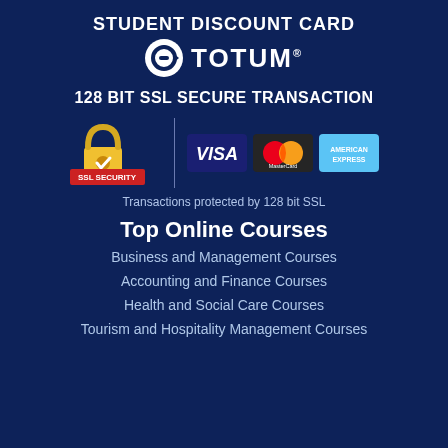STUDENT DISCOUNT CARD
[Figure (logo): TOTUM logo with circular arrow icon and registered trademark symbol]
128 BIT SSL SECURE TRANSACTION
[Figure (infographic): SSL security badge with padlock and red SSL SECURITY banner, vertical divider line, then VISA, MasterCard, and American Express card logos]
Transactions protected by 128 bit SSL
Top Online Courses
Business and Management Courses
Accounting and Finance Courses
Health and Social Care Courses
Tourism and Hospitality Management Courses